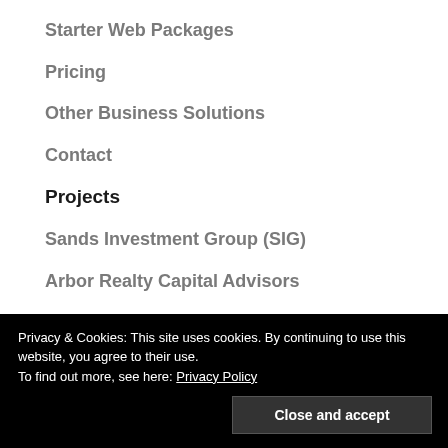Starter Web Packages
Pricing
Other Business Solutions
Contact
Projects
Sands Investment Group (SIG)
Arbor Realty Capital Advisors
Mumtaz Hussain
Privacy & Cookies: This site uses cookies. By continuing to use this website, you agree to their use.
To find out more, see here: Privacy Policy
Close and accept